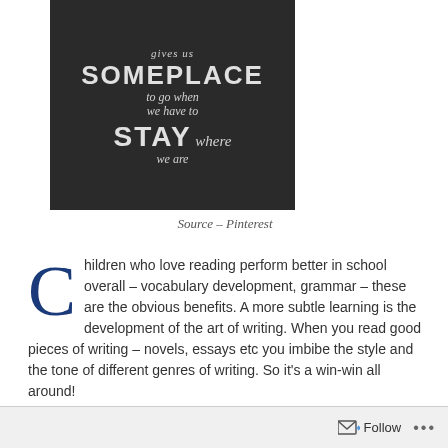[Figure (photo): Chalkboard image with white chalk lettering reading: 'gives us SOMEPLACE to go when we have to STAY where we are']
Source – Pinterest
Children who love reading perform better in school overall – vocabulary development, grammar – these are the obvious benefits. A more subtle learning is the development of the art of writing. When you read good pieces of writing – novels, essays etc you imbibe the style and the tone of different genres of writing. So it's a win-win all around!
Follow